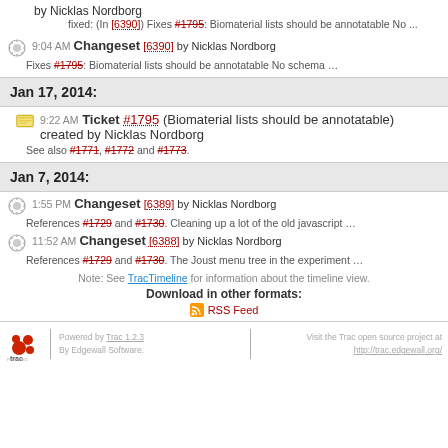by Nicklas Nordborg
fixed: (In [6390]) Fixes #1795: Biomaterial lists should be annotatable No ...
9:04 AM Changeset [6390] by Nicklas Nordborg
Fixes #1795: Biomaterial lists should be annotatable No schema ...
Jan 17, 2014:
9:22 AM Ticket #1795 (Biomaterial lists should be annotatable) created by Nicklas Nordborg
See also #1771, #1772 and #1773.
Jan 7, 2014:
1:55 PM Changeset [6389] by Nicklas Nordborg
References #1729 and #1730. Cleaning up a lot of the old javascript ...
11:52 AM Changeset [6388] by Nicklas Nordborg
References #1729 and #1730. The Joust menu tree in the experiment ...
Note: See TracTimeline for information about the timeline view.
Download in other formats:
RSS Feed
Powered by Trac 1.2.3 By Edgewall Software. Visit the Trac open source project at http://trac.edgewall.org/